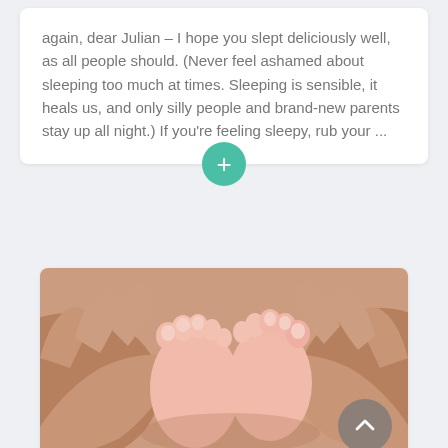again, dear Julian – I hope you slept deliciously well, as all people should. (Never feel ashamed about sleeping too much at times. Sleeping is sensible, it heals us, and only silly people and brand-new parents stay up all night.) If you're feeling sleepy, rub your ...
[Figure (photo): Close-up photograph of a newborn baby's feet cradled in adult hands]
Where Did I Come From?
By Mariana | April 24, 2021